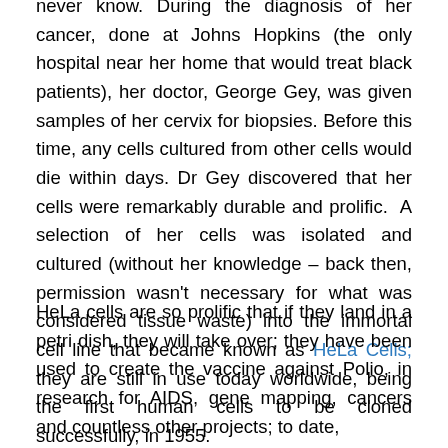never know. During the diagnosis of her cancer, done at Johns Hopkins (the only hospital near her home that would treat black patients), her doctor, George Gey, was given samples of her cervix for biopsies. Before this time, any cells cultured from other cells would die within days. Dr Gey discovered that her cells were remarkably durable and prolific. A selection of her cells was isolated and cultured (without her knowledge – back then, permission wasn't necessary for what was considered tissue waste) into the immortal cell line that became known as HeLa Cells; they are still in use today worldwide, being the first human cells to be cloned successfully, in 1955.
HeLa cells are so prolific that if they land in a petri dish, they will take over; they have been used to create the vaccine against Polio, in research for AIDS, gene mapping, cancers and countless other projects; to date,